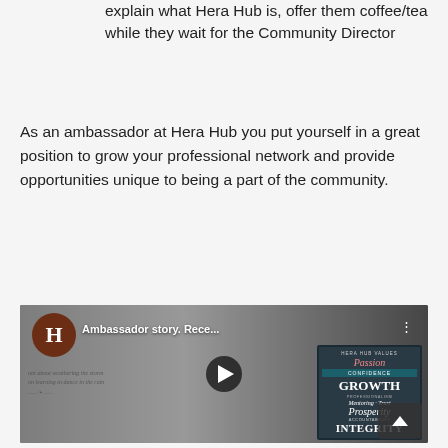explain what Hera Hub is, offer them coffee/tea while they wait for the Community Director
As an ambassador at Hera Hub you put yourself in a great position to grow your professional network and provide opportunities unique to being a part of the community.
[Figure (screenshot): Embedded video thumbnail showing a woman with glasses standing in front of a wall with cursive writing, and a values board on the right showing words like Passion, Confidence, Growth, Mentoring, Trust, Prosperity, Accountability, Integrity. The video title reads 'Ambassador story. Rece...' with a Hera Hub logo and a play button in the center.]